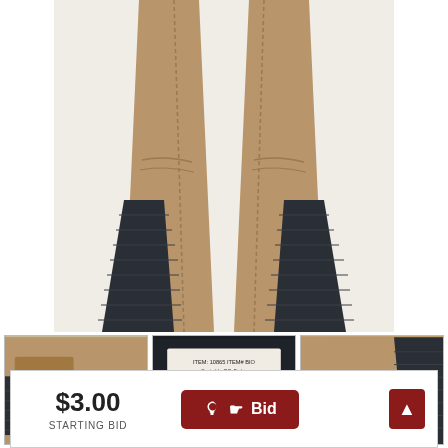[Figure (photo): Main product photo of khaki/tan work pants laid flat on white background, showing lower legs with dark navy quilted lining visible at the sides and hem]
[Figure (photo): Thumbnail 1: Close-up of pants pocket area with dark lining detail]
[Figure (photo): Thumbnail 2: Close-up of garment label/tag with fabric content and care instructions]
[Figure (photo): Thumbnail 3: Close-up of knee/thigh area of pants]
$3.00
STARTING BID
Bid